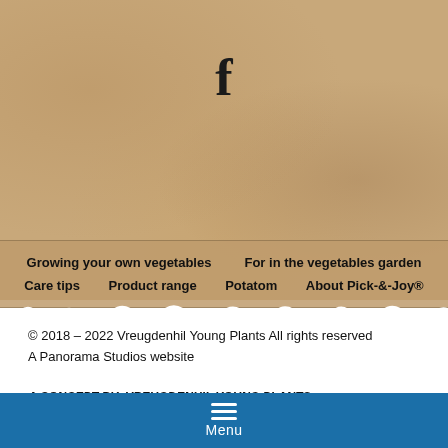[Figure (logo): Facebook 'f' icon on kraft paper background]
Growing your own vegetables
For in the vegetables garden
Care tips
Product range
Potatom
About Pick-&-Joy®
© 2018 – 2022 Vreugdenhil Young Plants All rights reserved
A Panorama Studios website
A CONCEPT BY: VREUGDENHIL YOUNG PLANTS
[Figure (logo): Vreugdenhil Young Plants logo with blue chevron/V mark and company name]
Menu